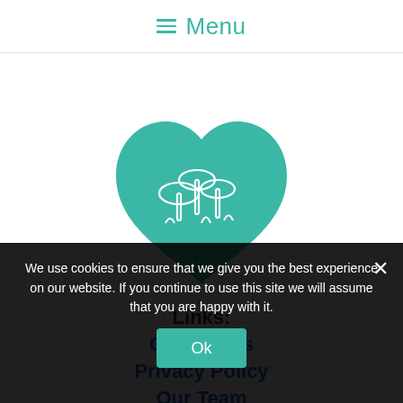Menu
[Figure (logo): Teal heart shape with white mushroom illustration inside]
Links:
Contact Us
Privacy Policy
Our Team
We use cookies to ensure that we give you the best experience on our website. If you continue to use this site we will assume that you are happy with it.